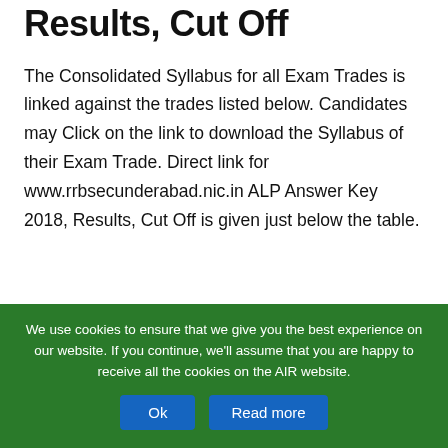Results, Cut Off
The Consolidated Syllabus for all Exam Trades is linked against the trades listed below. Candidates may Click on the link to download the Syllabus of their Exam Trade. Direct link for www.rrbsecunderabad.nic.in ALP Answer Key 2018, Results, Cut Off is given just below the table.
We use cookies to ensure that we give you the best experience on our website. If you continue, we'll assume that you are happy to receive all the cookies on the AIR website.